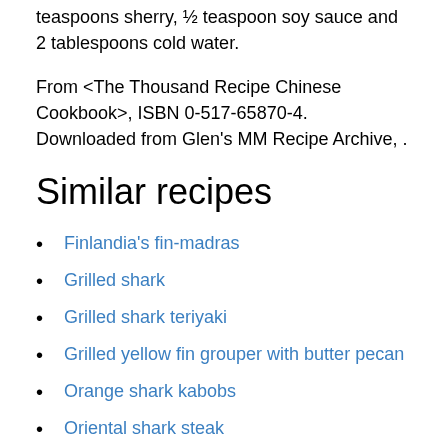teaspoons sherry, ½ teaspoon soy sauce and 2 tablespoons cold water.
From <The Thousand Recipe Chinese Cookbook>, ISBN 0-517-65870-4. Downloaded from Glen's MM Recipe Archive, .
Similar recipes
Finlandia's fin-madras
Grilled shark
Grilled shark teriyaki
Grilled yellow fin grouper with butter pecan
Orange shark kabobs
Oriental shark steak
Poaches shark
Recipe for shark
Shark amandine
Shark au poivre
Shark fingers